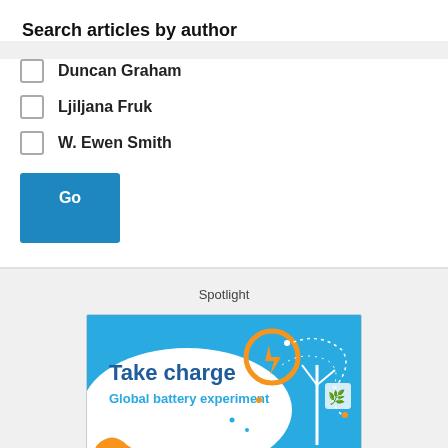Search articles by author
Duncan Graham
Ljiljana Fruk
W. Ewen Smith
Go
Spotlight
[Figure (illustration): Take charge - Global battery experiment promotional banner with blue background, wind turbines, and orange lightning bolt logo]